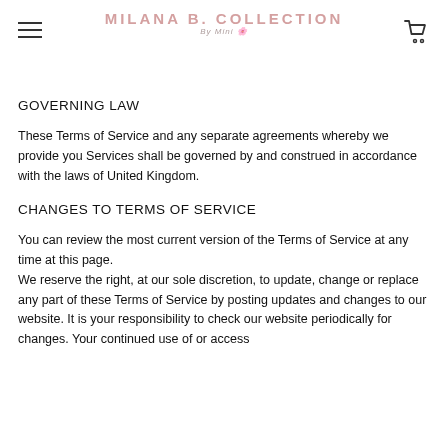MILANA B. COLLECTION By Mini
GOVERNING LAW
These Terms of Service and any separate agreements whereby we provide you Services shall be governed by and construed in accordance with the laws of United Kingdom.
CHANGES TO TERMS OF SERVICE
You can review the most current version of the Terms of Service at any time at this page.
We reserve the right, at our sole discretion, to update, change or replace any part of these Terms of Service by posting updates and changes to our website. It is your responsibility to check our website periodically for changes. Your continued use of or access